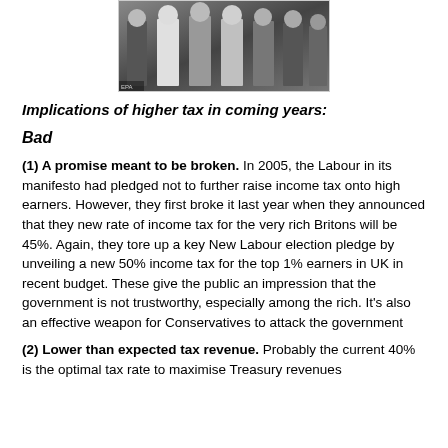[Figure (photo): Group of people standing together in formal attire, appearing to be politicians or officials]
Implications of higher tax in coming years:
Bad
(1) A promise meant to be broken. In 2005, the Labour in its manifesto had pledged not to further raise income tax onto high earners. However, they first broke it last year when they announced that they new rate of income tax for the very rich Britons will be 45%. Again, they tore up a key New Labour election pledge by unveiling a new 50% income tax for the top 1% earners in UK in recent budget. These give the public an impression that the government is not trustworthy, especially among the rich. It's also an effective weapon for Conservatives to attack the government
(2) Lower than expected tax revenue. Probably the current 40% is the optimal tax rate to maximise Treasury revenues